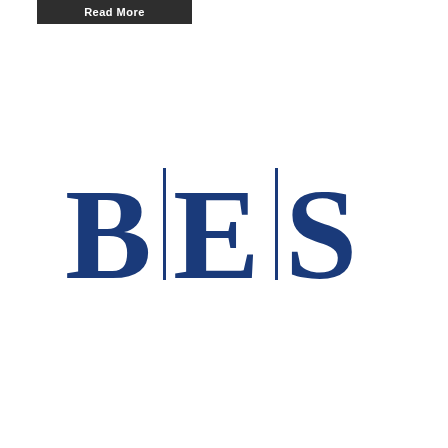Read More
[Figure (logo): BES logo with large serif letters B, E, S separated by vertical divider lines, in dark navy blue]